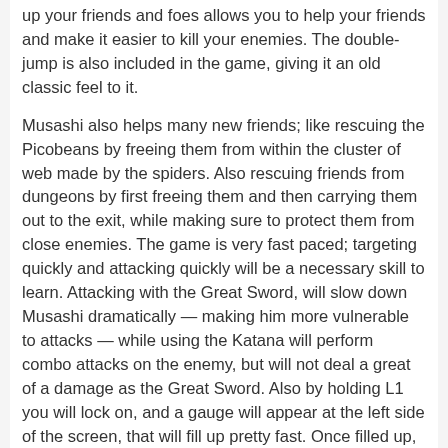up your friends and foes allows you to help your friends and make it easier to kill your enemies. The double-jump is also included in the game, giving it an old classic feel to it.
Musashi also helps many new friends; like rescuing the Picobeans by freeing them from within the cluster of web made by the spiders. Also rescuing friends from dungeons by first freeing them and then carrying them out to the exit, while making sure to protect them from close enemies. The game is very fast paced; targeting quickly and attacking quickly will be a necessary skill to learn. Attacking with the Great Sword, will slow down Musashi dramatically — making him more vulnerable to attacks — while using the Katana will perform combo attacks on the enemy, but will not deal a great of a damage as the Great Sword. Also by holding L1 you will lock on, and a gauge will appear at the left side of the screen, that will fill up pretty fast. Once filled up, Musashi will be able to take out his Great Sword, and use it while using his Katana. This maneuver will also target the enemy and allow you to learn a Mikiri Power from the enemy if executed correctly and if a Mikiri Power is available on said enemy. This technique is an essential when battling, due to blocking and attacking with combos.
The demo we played only had 3 available missions, and from